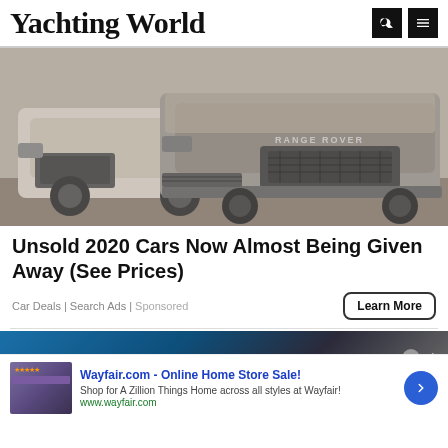Yachting World
[Figure (photo): Two dusty Range Rover SUVs parked in an outdoor lot, covered in dust/grime, photographed from the front-left angle]
Unsold 2020 Cars Now Almost Being Given Away (See Prices)
Car Deals | Search Ads | Sponsored
[Figure (screenshot): Wayfair.com advertisement banner showing: 'Wayfair.com - Online Home Store Sale! Shop for A Zillion Things Home across all styles at Wayfair! www.wayfair.com' with a thumbnail image and blue arrow button]